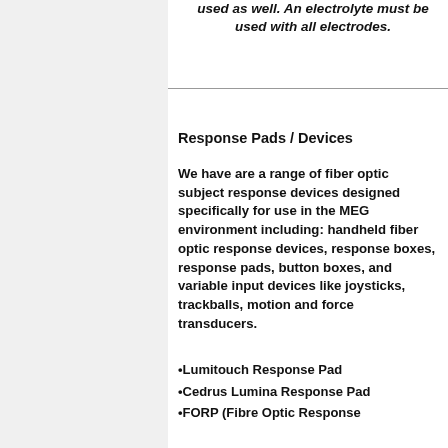used as well. An electrolyte must be used with all electrodes.
Response Pads / Devices
We have are a range of fiber optic subject response devices designed specifically for use in the MEG environment including: handheld fiber optic response devices, response boxes, response pads, button boxes, and variable input devices like joysticks, trackballs, motion and force transducers.
•Lumitouch Response Pad
•Cedrus Lumina Response Pad
•FORP (Fibre Optic Response